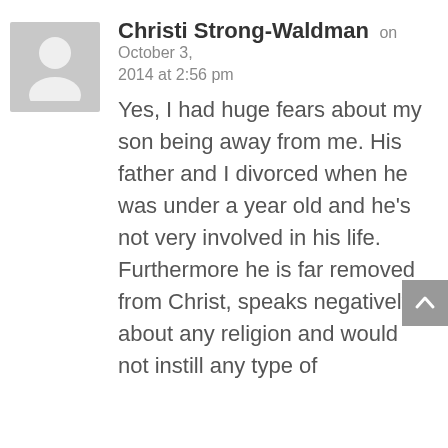[Figure (illustration): Gray placeholder avatar icon showing a generic person silhouette]
Christi Strong-Waldman on October 3, 2014 at 2:56 pm
Yes, I had huge fears about my son being away from me. His father and I divorced when he was under a year old and he's not very involved in his life. Furthermore he is far removed from Christ, speaks negatively about any religion and would not instill any type of